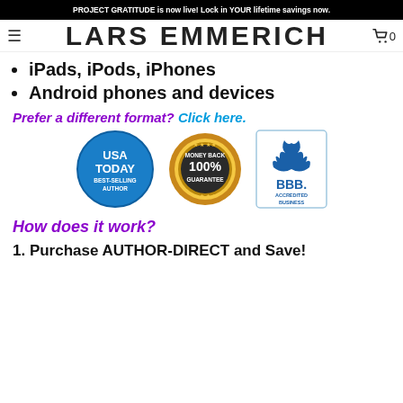PROJECT GRATITUDE is now live! Lock in YOUR lifetime savings now.
LARS EMMERICH
iPads, iPods, iPhones
Android phones and devices
Prefer a different format? Click here.
[Figure (logo): Three trust badges: USA TODAY Best-Selling Author (blue circle), 100% Money Back Guarantee (gold seal), BBB Accredited Business (blue logo)]
How does it work?
1. Purchase AUTHOR-DIRECT and Save!